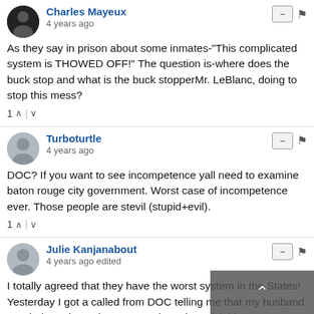Charles Mayeux
4 years ago
As they say in prison about some inmates-"This complicated system is THOWED OFF!" The question is-where does the buck stop and what is the buck stopperMr. LeBlanc, doing to stop this mess?
1 ^ | v
Turboturtle
4 years ago
DOC? If you want to see incompetence yall need to examine baton rouge city government. Worst case of incompetence ever. Those people are stevil (stupid+evil).
1 ^ | v
Julie Kanjanabout
4 years ago edited
I totally agreed that they have the worst system in the States! Yesterday I got a called from DOC telling me that my husband was being released, so get ready and go pick him up. He violent his parole because his PO could not verify our home address. However, the drive from Texas where we lived to Hunts was a five